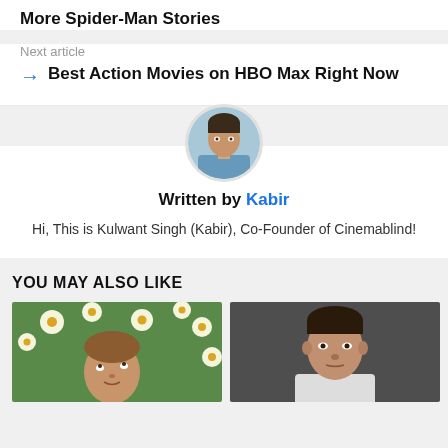More Spider-Man Stories
Next article
Best Action Movies on HBO Max Right Now
[Figure (photo): Circular avatar photo of Kabir (Kulwant Singh), a man in a light blue shirt]
Written by Kabir
Hi, This is Kulwant Singh (Kabir), Co-Founder of Cinemablind!
YOU MAY ALSO LIKE
[Figure (photo): Left thumbnail: man with brown hair looking up surrounded by white daisy flowers]
[Figure (photo): Right thumbnail: man with slicked-back hair in a white shirt, serious expression, dark background]